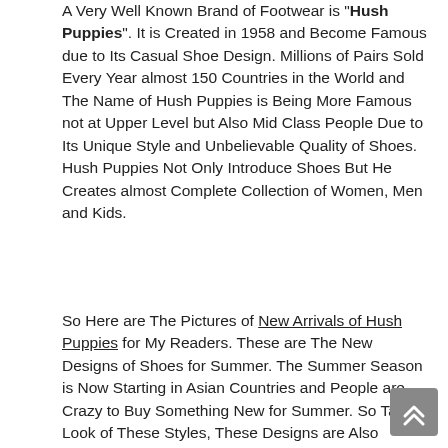A Very Well Known Brand of Footwear is "Hush Puppies". It is Created in 1958 and Become Famous due to Its Casual Shoe Design. Millions of Pairs Sold Every Year almost 150 Countries in the World and The Name of Hush Puppies is Being More Famous not at Upper Level but Also Mid Class People Due to Its Unique Style and Unbelievable Quality of Shoes. Hush Puppies Not Only Introduce Shoes But He Creates almost Complete Collection of Women, Men and Kids.
So Here are The Pictures of New Arrivals of Hush Puppies for My Readers. These are The New Designs of Shoes for Summer. The Summer Season is Now Starting in Asian Countries and People are Crazy to Buy Something New for Summer. So Take a Look of These Styles, These Designs are Also Introduce in USA.